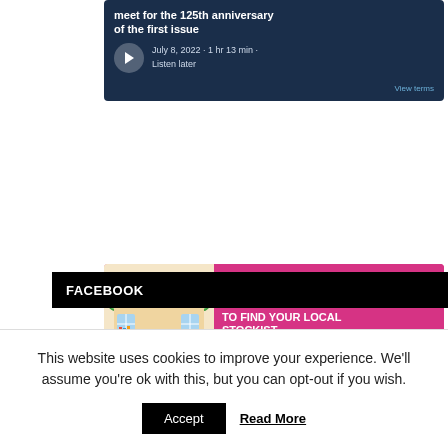[Figure (screenshot): Podcast card with dark navy background showing partial title text about 125th anniversary of the first issue, play button, date July 8 2022, 1 hr 13 min, Listen later, View terms link]
[Figure (illustration): Store Finder advertisement banner with pink background, newsagent shop illustration on left, yellow STORE FINDER text, white USE OUR HANDY TOOL TO FIND YOUR LOCAL STOCKIST text, yellow arrow pointing right]
FACEBOOK
This website uses cookies to improve your experience. We'll assume you're ok with this, but you can opt-out if you wish.
Accept   Read More